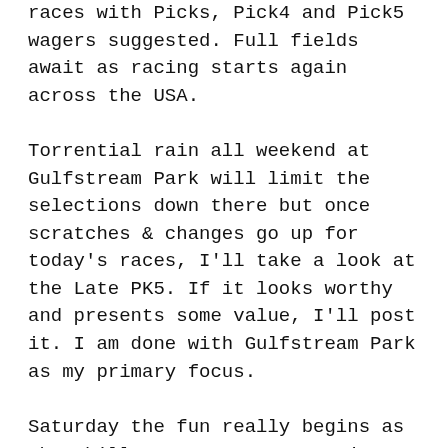races with Picks, Pick4 and Pick5 wagers suggested. Full fields await as racing starts again across the USA.
Torrential rain all weekend at Gulfstream Park will limit the selections down there but once scratches & changes go up for today's races, I'll take a look at the Late PK5. If it looks worthy and presents some value, I'll post it. I am done with Gulfstream Park as my primary focus.
Saturday the fun really begins as Churchill Downs re-opens to jam packed fields with an All Star Cast of characters. With NY still closed, the will be a reverse Saratoga meet until NY comes back on line. Normally KY is closed so all those horses migrate to Saratoga, add in the sharp Mid-Atlantic shippers – and that's what makes Saratoga so competitive and tough. The